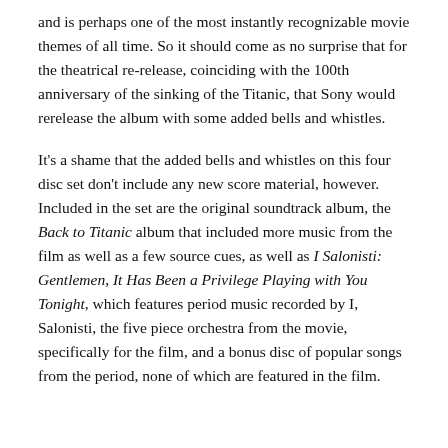and is perhaps one of the most instantly recognizable movie themes of all time. So it should come as no surprise that for the theatrical re-release, coinciding with the 100th anniversary of the sinking of the Titanic, that Sony would rerelease the album with some added bells and whistles.
It's a shame that the added bells and whistles on this four disc set don't include any new score material, however. Included in the set are the original soundtrack album, the Back to Titanic album that included more music from the film as well as a few source cues, as well as I Salonisti: Gentlemen, It Has Been a Privilege Playing with You Tonight, which features period music recorded by I, Salonisti, the five piece orchestra from the movie, specifically for the film, and a bonus disc of popular songs from the period, none of which are featured in the film.